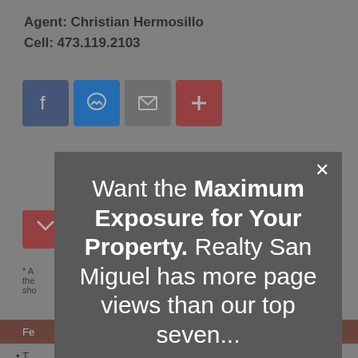Agent: Christian Hermosillo
Cell: 473.119.2103
[Figure (screenshot): Social media sharing icons: Facebook (blue), Messenger (blue), Email (gray), Plus/Add (red)]
* A... these... sho...
Fe...
T... ed
P...
L...
L...
O...
O...
O...
[Figure (screenshot): Modal dialog with text: Want the Maximum Exposure for Your Property. Realty San Miguel has more page views than our top seven...]
Want the Maximum Exposure for Your Property. Realty San Miguel has more page views than our top seven...